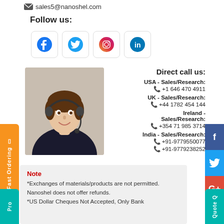sales5@nanoshel.com
Follow us:
[Figure (infographic): Four social media icons: Facebook, Twitter, Instagram, LinkedIn in rounded square boxes]
[Figure (photo): Customer service representative woman with headset smiling]
Direct call us:
USA - Sales/Research:
+1 646 470 4911
UK - Sales/Research:
+44 1782 454 144
Ireland - Sales/Research:
+354 71 985 3714
India - Sales/Research:
+91-9779550077
+91-9779238252
Fast Ordering
Note
*Exchanges of materials/products are not permitted. Nanoshel does not offer refunds.
*US Dollar Cheques Not Accepted, Only Bank